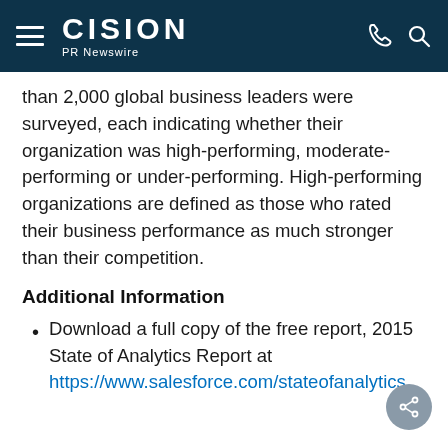CISION PR Newswire
than 2,000 global business leaders were surveyed, each indicating whether their organization was high-performing, moderate-performing or under-performing. High-performing organizations are defined as those who rated their business performance as much stronger than their competition.
Additional Information
Download a full copy of the free report, 2015 State of Analytics Report at https://www.salesforce.com/stateofanalytics